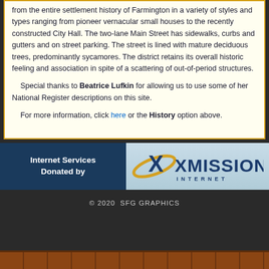from the entire settlement history of Farmington in a variety of styles and types ranging from pioneer vernacular small houses to the recently constructed City Hall. The two-lane Main Street has sidewalks, curbs and gutters and on street parking. The street is lined with mature deciduous trees, predominantly sycamores. The district retains its overall historic feeling and association in spite of a scattering of out-of-period structures.
Special thanks to Beatrice Lufkin for allowing us to use some of her National Register descriptions on this site.
For more information, click here or the History option above.
[Figure (logo): XMission Internet Services banner — dark blue left panel reading 'Internet Services Donated by' and light blue right panel with X logo and XMISSION INTERNET text]
© 2020  SFG GRAPHICS